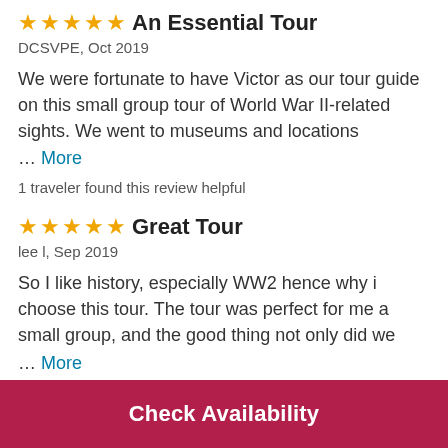An Essential Tour
DCSVPE, Oct 2019
We were fortunate to have Victor as our tour guide on this small group tour of World War II-related sights. We went to museums and locations … More
1 traveler found this review helpful
Great Tour
lee l, Sep 2019
So I like history, especially WW2 hence why i choose this tour. The tour was perfect for me a small group, and the good thing not only did we … More
Check Availability